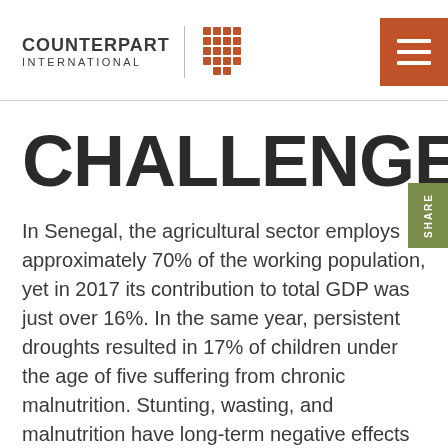COUNTERPART INTERNATIONAL
CHALLENGE
In Senegal, the agricultural sector employs approximately 70% of the working population, yet in 2017 its contribution to total GDP was just over 16%. In the same year, persistent droughts resulted in 17% of children under the age of five suffering from chronic malnutrition. Stunting, wasting, and malnutrition have long-term negative effects on human development